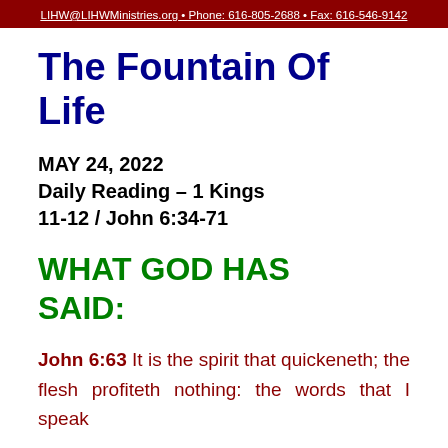LIHW@LIHWMinistries.org • Phone: 616-805-2688 • Fax: 616-546-9142
The Fountain Of Life
MAY 24, 2022
Daily Reading – 1 Kings 11-12 / John 6:34-71
WHAT GOD HAS SAID:
John 6:63 It is the spirit that quickeneth; the flesh profiteth nothing: the words that I speak